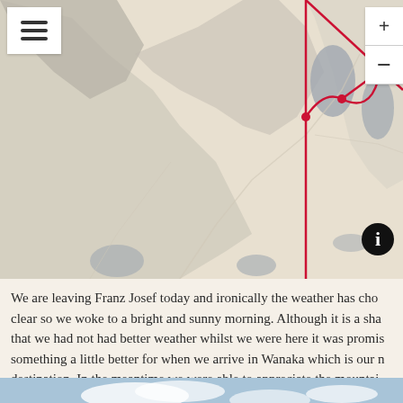[Figure (map): Partial map of New Zealand's South Island showing a travel route marked with red lines connecting several waypoints (red dots). A grey map background with terrain features, lakes, and roads. UI elements include a hamburger menu button top-left and zoom +/- controls top-right, plus an info icon bottom-right of map.]
We are leaving Franz Josef today and ironically the weather has cho clear so we woke to a bright and sunny morning. Although it is a sha that we had not had better weather whilst we were here it was promis something a little better for when we arrive in Wanaka which is our n destination. In the meantime we were able to appreciate the mountai peaks of Franz Josef whilst walking to the bus stop in the centre of t town.
[Figure (photo): Photograph of mountain peaks of Franz Josef with blue sky and some clouds in the background.]